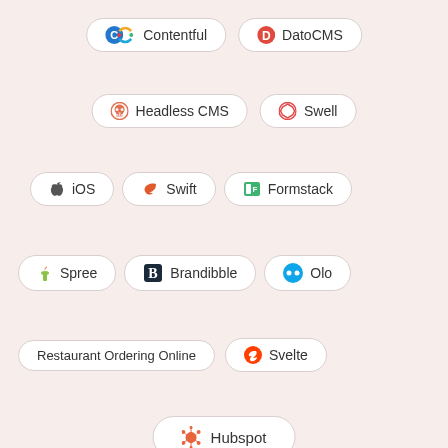[Figure (infographic): Grid of technology/platform pill badges with logos: Contentful, DatoCMS, Headless CMS, Swell, iOS, Swift, Formstack, Spree, Brandibble, Olo, Restaurant Ordering Online, Svelte, Hubspot]